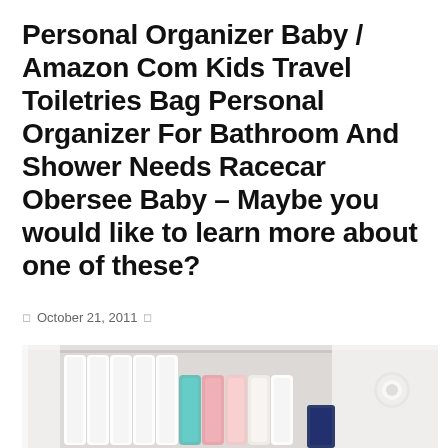Personal Organizer Baby / Amazon Com Kids Travel Toiletries Bag Personal Organizer For Bathroom And Shower Needs Racecar Obersee Baby – Maybe you would like to learn more about one of these?
October 21, 2011
[Figure (photo): Photo of a white dresser drawer open, showing neatly organized folded baby clothes and fabric items including white, pink, teal, and floral items arranged vertically in the drawer, with a white drawer knob visible on the right.]